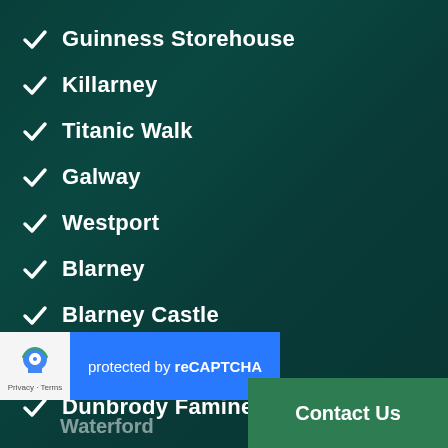Guinness Storehouse
Killarney
Titanic Walk
Galway
Westport
Blarney
Blarney Castle
Dingle
Dunbrody Famine Ship
[Figure (screenshot): reCAPTCHA widget with blue 'protected by reCAPTCHA' banner]
Waterford (partially visible)
Contact Us